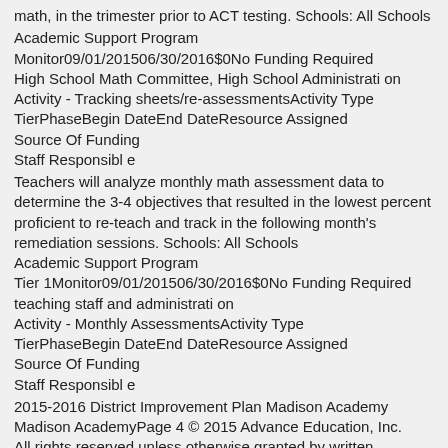math, in the trimester prior to ACT testing. Schools: All Schools
Academic Support Program
Monitor09/01/201506/30/2016$0No Funding Required
High School Math Committee, High School Administrati on
Activity - Tracking sheets/re-assessmentsActivity Type
TierPhaseBegin DateEnd DateResource Assigned
Source Of Funding
Staff Responsibl e
Teachers will analyze monthly math assessment data to determine the 3-4 objectives that resulted in the lowest percent proficient to re-teach and track in the following month's remediation sessions. Schools: All Schools
Academic Support Program
Tier 1Monitor09/01/201506/30/2016$0No Funding Required
teaching staff and administrati on
Activity - Monthly AssessmentsActivity Type
TierPhaseBegin DateEnd DateResource Assigned
Source Of Funding
Staff Responsibl e
2015-2016 District Improvement Plan Madison Academy
Madison AcademyPage 4 © 2015 Advance Education, Inc.
All rights reserved unless otherwise granted by written agreement.
(shared) Strategy 2: Title-I Teaching Staff/At-risk services A